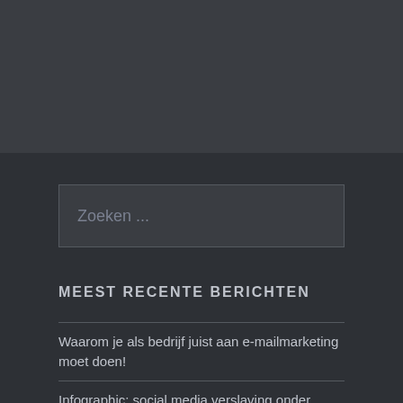[Figure (screenshot): Dark top bar / header area of a website]
Zoeken ...
MEEST RECENTE BERICHTEN
Waarom je als bedrijf juist aan e-mailmarketing moet doen!
Infographic: social media verslaving onder jongeren
FOMO onder studenten, een moderne ziekte?